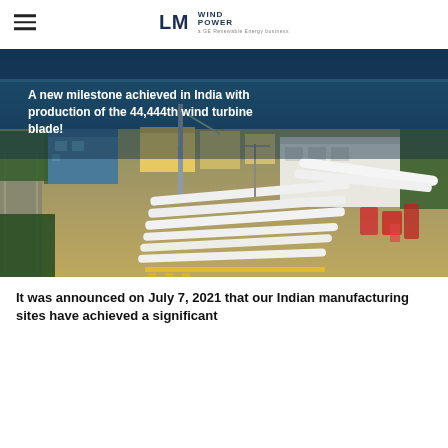LM WIND POWER — a GE Renewable Energy business
[Figure (photo): Aerial photograph of LM Wind Power manufacturing facility in India showing large wind turbine blades laid out in a staging yard. The facility has industrial buildings with blue roofing, green trees lining the perimeter, and the ocean visible in the background. An overlay text reads: 'A new milestone achieved in India with production of the 44,444th wind turbine blade!']
It was announced on July 7, 2021 that our Indian manufacturing sites have achieved a significant